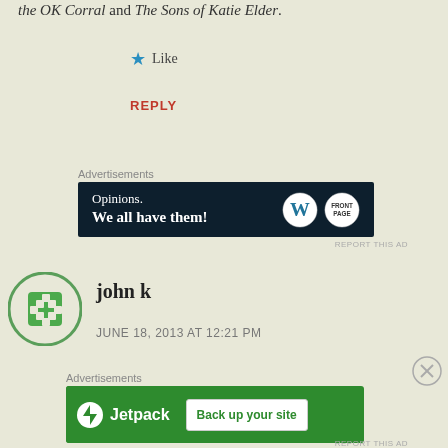the OK Corral and The Sons of Katie Elder.
★ Like
REPLY
Advertisements
[Figure (screenshot): Advertisement banner: dark navy background with text 'Opinions. We all have them!' and WordPress and FrontPage logos on the right.]
REPORT THIS AD
john k
JUNE 18, 2013 AT 12:21 PM
Advertisements
[Figure (screenshot): Advertisement banner: green background with Jetpack logo and 'Back up your site' button.]
REPORT THIS AD